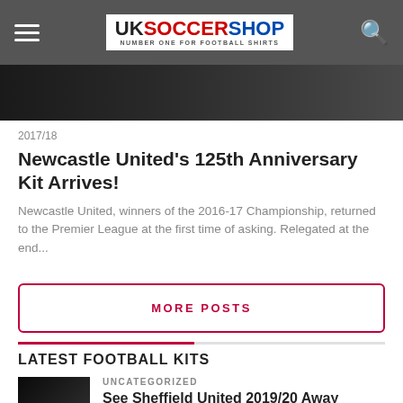UK Soccer Shop — Number One For Football Shirts
[Figure (photo): Cropped photo showing football-related imagery on dark background]
2017/18
Newcastle United's 125th Anniversary Kit Arrives!
Newcastle United, winners of the 2016-17 Championship, returned to the Premier League at the first time of asking. Relegated at the end...
MORE POSTS
LATEST FOOTBALL KITS
UNCATEGORIZED
See Sheffield United 2019/20 Away Concept Kit Here